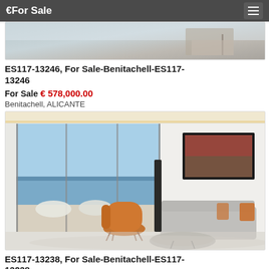€For Sale
[Figure (photo): Partial view of a luxury property interior/exterior - bedroom or terrace area]
ES117-13246, For Sale-Benitachell-ES117-13246
For Sale € 578,000.00
Benitachell, ALICANTE
[Figure (photo): Modern luxury living room with floor-to-ceiling windows overlooking the sea, orange accent chair, grey sofa with orange cushions, abstract wall art]
ES117-13238, For Sale-Benitachell-ES117-13238
For Sale € 555,000.00
Benitachell, ALICANTE
[Figure (photo): Partial view of another luxury property listing - bottom of page]